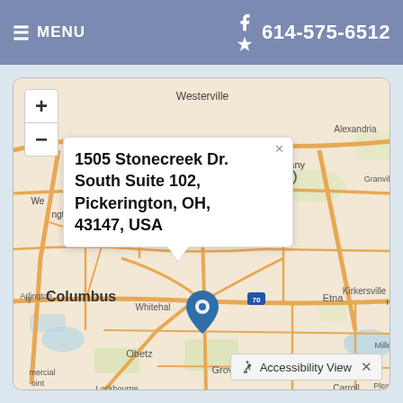≡ MENU  |  f  614-575-6512
[Figure (map): Interactive street map centered on Pickerington, OH area showing Columbus, New Albany, Westerville, Etna, Kirkersville, Obetz, Groveport, Baltimore, Lockbourne, Carroll, and surrounding areas with road network. A blue location pin marks 1505 Stonecreek Dr. South Suite 102, Pickerington, OH 43147. A popup address label appears above the pin. Map includes zoom controls (+/-) in top-left corner.]
1505 Stonecreek Dr. South Suite 102, Pickerington, OH, 43147, USA
Accessibility View